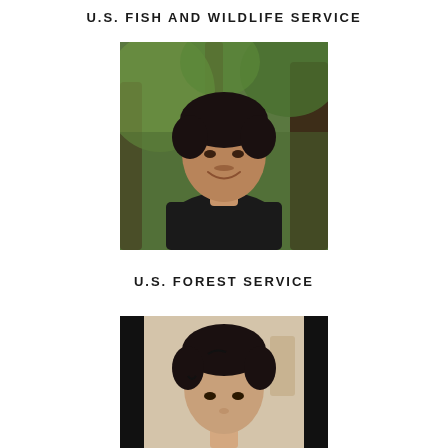U.S. FISH AND WILDLIFE SERVICE
[Figure (photo): Headshot of a young man smiling outdoors with trees in the background, wearing a dark t-shirt]
U.S. FOREST SERVICE
[Figure (photo): Headshot of a young man indoors with a light background, dark hair, photo has black side bars]